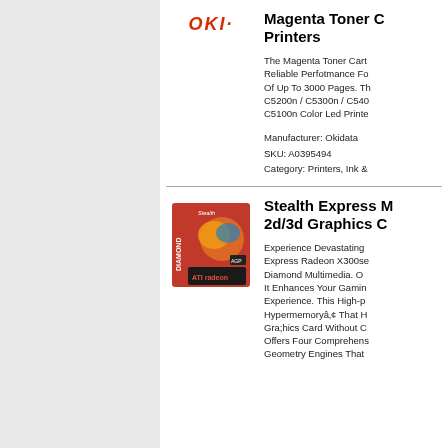[Figure (logo): OKI brand logo in red italic text]
Magenta Toner C Printers
The Magenta Toner Cart Reliable Perfotmance Fo Of Up To 3000 Pages. Th C5200n / C5300n / C540 C5100n Color Led Printe
Manufacturer: Okidata
SKU: A0395494
Category: Printers, Ink &
[Figure (photo): Diamond Multimedia Stealth Express Radeon X300se graphics card box]
Stealth Express M 2d/3d Graphics C
Experience Devastating Express Radeon X300se Diamond Multimedia. O It Enhances Your Gamin Experience. This High-p Hypermemoryâ„¢ That H Gra;hics Card Without C Offers Four Comprehens Geometry Engines That